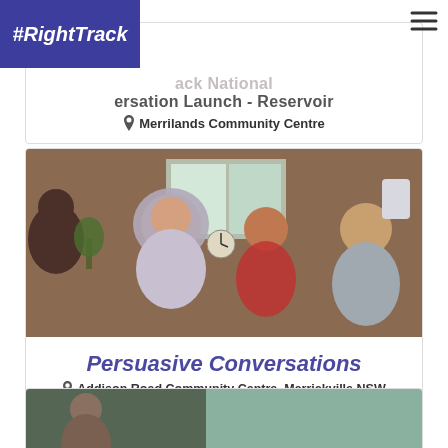[Figure (logo): #RightTrack logo — white italic bold text on dark blue/indigo background]
...ack National ...ersation Launch - Reservoir
Merrilands Community Centre
[Figure (photo): Group of people sitting around a table in conversation, brick wall and windows in background]
Persuasive Conversations
Addison Road Community Centre, Marrickville NSW
[Figure (photo): Partial photo visible at bottom of page, person visible on left side]